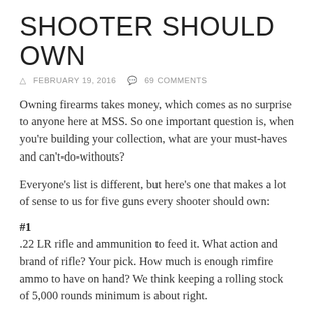SHOOTER SHOULD OWN
FEBRUARY 19, 2016  69 COMMENTS
Owning firearms takes money, which comes as no surprise to anyone here at MSS. So one important question is, when you're building your collection, what are your must-haves and can't-do-withouts?
Everyone's list is different, but here's one that makes a lot of sense to us for five guns every shooter should own:
#1
.22 LR rifle and ammunition to feed it. What action and brand of rifle? Your pick. How much is enough rimfire ammo to have on hand? We think keeping a rolling stock of 5,000 rounds minimum is about right.
#2